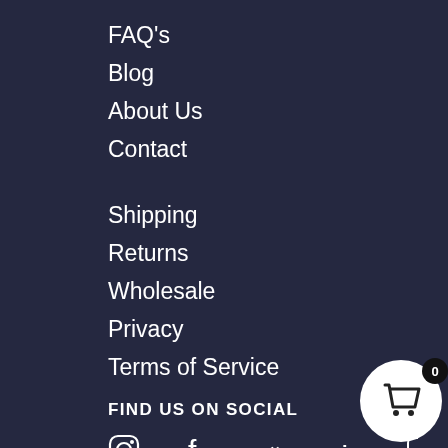FAQ's
Blog
About Us
Contact
Shipping
Returns
Wholesale
Privacy
Terms of Service
FIND US ON SOCIAL
[Figure (illustration): Social media icons: Instagram, Facebook, Pinterest, LinkedIn, YouTube; plus a shopping cart button with badge showing 0]